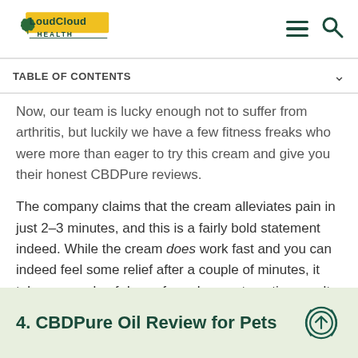LoudCloud Health
TABLE OF CONTENTS
Now, our team is lucky enough not to suffer from arthritis, but luckily we have a few fitness freaks who were more than eager to try this cream and give you their honest CBDPure reviews.
The company claims that the cream alleviates pain in just 2–3 minutes, and this is a fairly bold statement indeed. While the cream does work fast and you can indeed feel some relief after a couple of minutes, it takes a couple of days of regular use to notice results.
4. CBDPure Oil Review for Pets